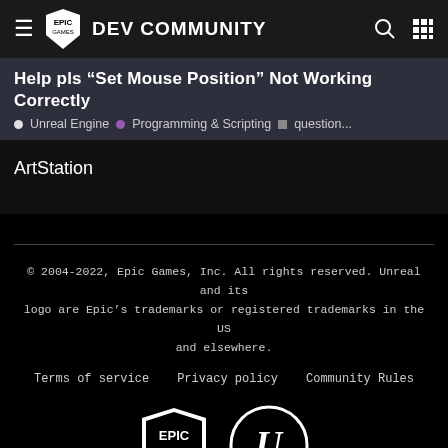EPIC GAMES DEV COMMUNITY
Help pls “Set Mouse Position” Not Working Correctly
● Unreal Engine  ● Programming & Scripting  ■ question...
ArtStation
© 2004-2022, Epic Games, Inc. All rights reserved. Unreal and its logo are Epic’s trademarks or registered trademarks in the US and elsewhere.
Terms of service   Privacy policy   Community Rules
[Figure (logo): Epic Games logo and Unreal Engine logo in white on black background]